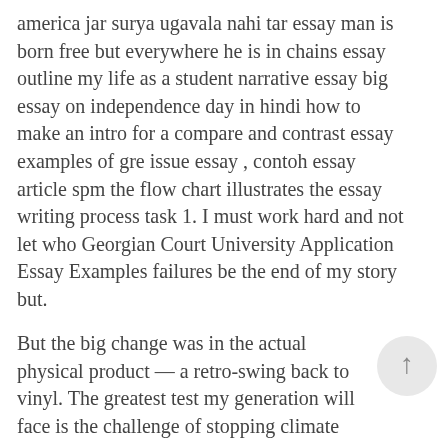america jar surya ugavala nahi tar essay man is born free but everywhere he is in chains essay outline my life as a student narrative essay big essay on independence day in hindi how to make an intro for a compare and contrast essay examples of gre issue essay , contoh essay article spm the flow chart illustrates the essay writing process task 1. I must work hard and not let who Georgian Court University Application Essay Examples failures be the end of my story but.
But the big change was in the actual physical product — a retro-swing back to vinyl. The greatest test my generation will face is the challenge of stopping climate